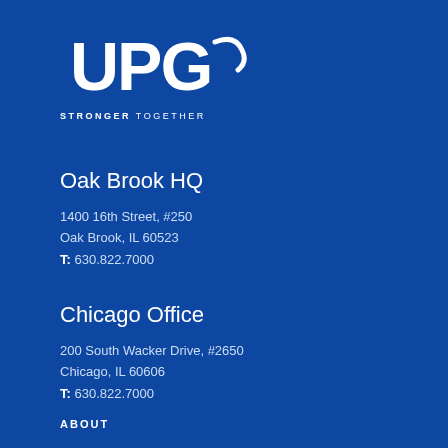[Figure (logo): UPG logo with text 'STRONGER TOGETHER' in white on blue background]
Oak Brook HQ
1400 16th Street, #250
Oak Brook, IL 60523
T: 630.822.7000
Chicago Office
200 South Wacker Drive, #2650
Chicago, IL 60606
T: 630.822.7000
ABOUT